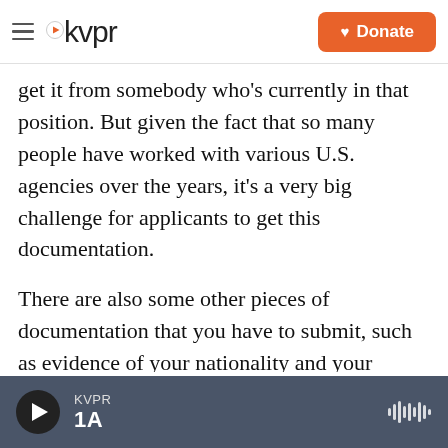kvpr | Donate
get it from somebody who's currently in that position. But given the fact that so many people have worked with various U.S. agencies over the years, it's a very big challenge for applicants to get this documentation.
There are also some other pieces of documentation that you have to submit, such as evidence of your nationality and your biographic information. But once you have all of that, you have to send an email to get what we call chief of mission approval called COM approval for short. ... And that's definitely not uncommon [for that to take
KVPR 1A